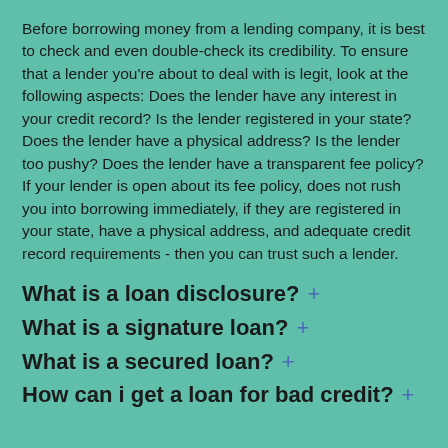Before borrowing money from a lending company, it is best to check and even double-check its credibility. To ensure that a lender you're about to deal with is legit, look at the following aspects: Does the lender have any interest in your credit record? Is the lender registered in your state? Does the lender have a physical address? Is the lender too pushy? Does the lender have a transparent fee policy? If your lender is open about its fee policy, does not rush you into borrowing immediately, if they are registered in your state, have a physical address, and adequate credit record requirements - then you can trust such a lender.
What is a loan disclosure? +
What is a signature loan? +
What is a secured loan? +
How can i get a loan for bad credit? +